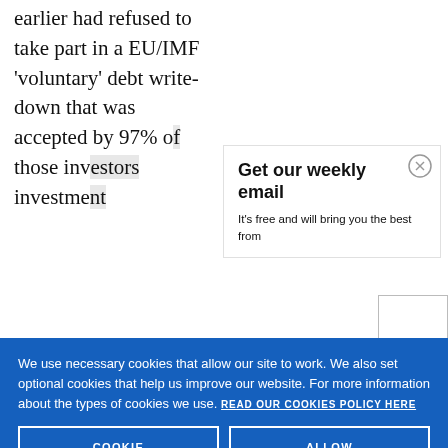earlier had refused to take part in a EU/IMF 'voluntary' debt write-down that was accepted by 97% o[f] those inv[estors]... investme[nt]...
Get our weekly email
It's free and will bring you the best from
We use necessary cookies that allow our site to work. We also set optional cookies that help us improve our website. For more information about the types of cookies we use. READ OUR COOKIES POLICY HERE
COOKIE SETTINGS
ALLOW ALL COOKIES
data.
thirdly be[...]